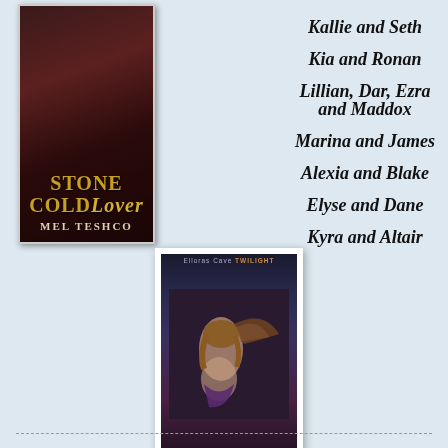[Figure (illustration): Book cover for 'Stone Cold Lover' by Mel Teshco - dark red/maroon background with gold title text]
[Figure (illustration): Book cover for 'Ice-Cold Lover' by Mel Teshco - dark background with a woman and bat wings]
Kallie and Seth
Kia and Ronan
Lillian, Dar, Ezra and Maddox
Marina and James
Alexia and Blake
Elyse and Dane
Kyra and Altair